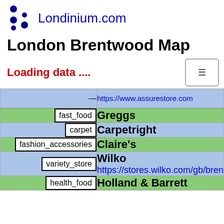Londinium.com
London Brentwood Map
Loading data ....
| category | store |
| --- | --- |
| — | https://www.assurestore.com |
| fast_food | Greggs |
| carpet | Carpetright |
| fashion_accessories | Claire's |
| variety_store | Wilko https://stores.wilko.com/gb/bren… |
| health_food | Holland & Barrett |